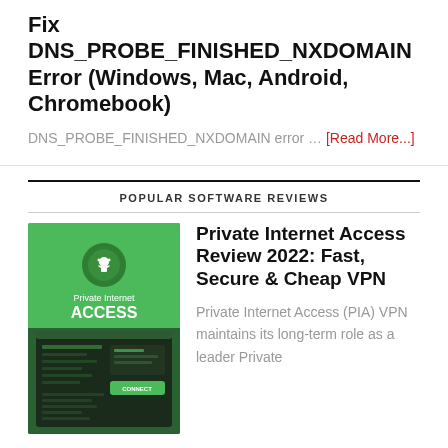Fix DNS_PROBE_FINISHED_NXDOMAIN Error (Windows, Mac, Android, Chromebook)
DNS_PROBE_FINISHED_NXDOMAIN error … [Read More...]
POPULAR SOFTWARE REVIEWS
[Figure (screenshot): Private Internet Access VPN app screenshot showing green logo and dark dashboard interface]
Private Internet Access Review 2022: Fast, Secure & Cheap VPN
Private Internet Access (PIA) VPN maintains its long-term role as a leader Private